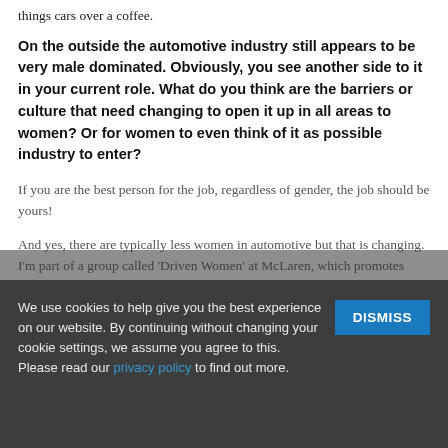things cars over a coffee.
On the outside the automotive industry still appears to be very male dominated. Obviously, you see another side to it in your current role. What do you think are the barriers or culture that need changing to open it up in all areas to women? Or for women to even think of it as possible industry to enter?
If you are the best person for the job, regardless of gender, the job should be yours!
And yes, there are typically less women in automotive but that is changing. I'm part of a group called 'Driven Women' at McLaren, which promotes roles and careers in the industry, be it through social media, guest speakers, STEM and events. The group is also not exclusive to men but very much
We use cookies to help give you the best experience on our website. By continuing without changing your cookie settings, we assume you agree to this. Please read our privacy policy to find out more.